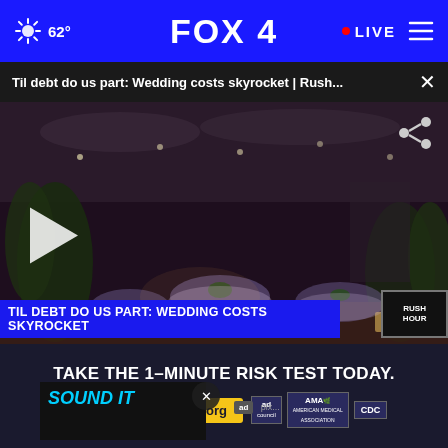FOX 4 — 62° LIVE
Til debt do us part: Wedding costs skyrocket | Rush...
[Figure (screenshot): Video screenshot of a wedding venue reception hall with decorated tables, floral arrangements, string lights, and a lower-third chyron reading 'TIL DEBT DO US PART: WEDDING COSTS SKYROCKET' with RUSH HOUR branding and a news ticker at the bottom showing 'MORE THAN 3,000 FIREFIGHTERS CONTINUING TO FIGH... LATEST HEADLINES NEWSNATION']
[Figure (screenshot): Small video preview thumbnail showing 'SOUND IT' text in blue italic letters on dark background with an ad indicator]
TAKE THE 1-MINUTE RISK TEST TODAY.
DoIHavePrediabetes.org
ad | AMA | CDC